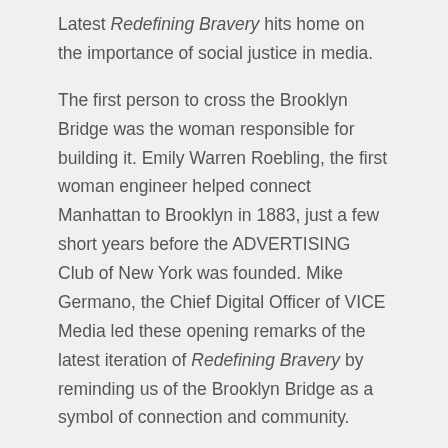Latest Redefining Bravery hits home on the importance of social justice in media.
The first person to cross the Brooklyn Bridge was the woman responsible for building it. Emily Warren Roebling, the first woman engineer helped connect Manhattan to Brooklyn in 1883, just a few short years before the ADVERTISING Club of New York was founded. Mike Germano, the Chief Digital Officer of VICE Media led these opening remarks of the latest iteration of Redefining Bravery by reminding us of the Brooklyn Bridge as a symbol of connection and community.
Germano co-founded Carrot Creative which was acquired by VICE in 2013. Mike has a passion for bold ideas and trailblazers doing business outside of the